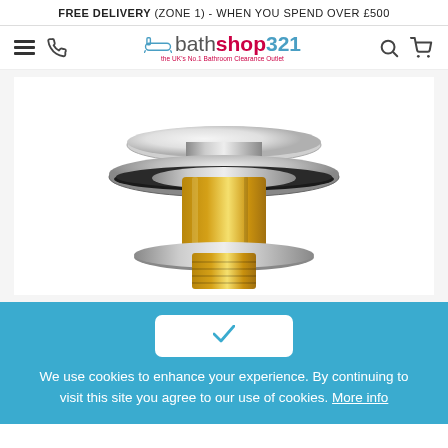FREE DELIVERY (ZONE 1) - WHEN YOU SPEND OVER £500
[Figure (logo): bathshop321 logo with bathtub icon and tagline 'the UK's No.1 Bathroom Clearance Outlet']
[Figure (photo): Close-up photo of a chrome bathroom drain plug/basin waste with push-button mechanism, showing the round flat top, chrome ring, black rubber seal, and brass threaded body]
We use cookies to enhance your experience. By continuing to visit this site you agree to our use of cookies. More info